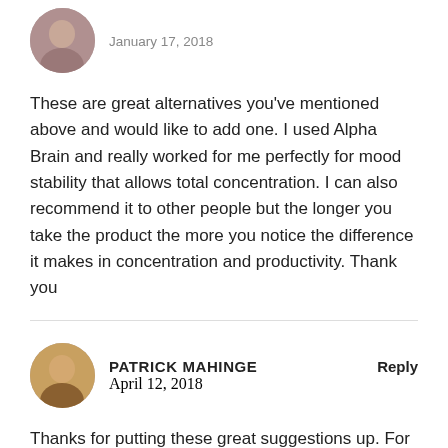[Figure (photo): Avatar photo of a woman, circular crop, top-left of first comment]
January 17, 2018
These are great alternatives you've mentioned above and would like to add one. I used Alpha Brain and really worked for me perfectly for mood stability that allows total concentration. I can also recommend it to other people but the longer you take the product the more you notice the difference it makes in concentration and productivity. Thank you
[Figure (photo): Avatar photo of Patrick Mahinge, a man, circular crop]
PATRICK MAHINGE
Reply
April 12, 2018
Thanks for putting these great suggestions up. For anyone still looking for adderall alternatives or a way to lessen the side effects of adderall, I'd recommend Melatonin, which dampens the effects of catecholamines and is particularly